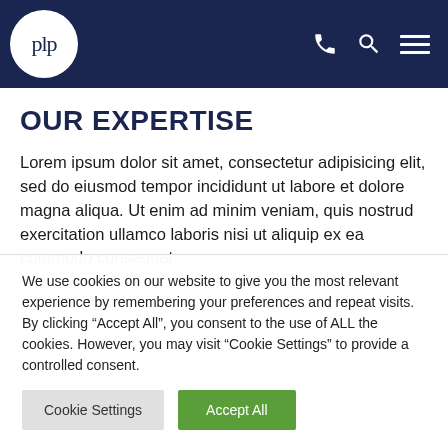plp
OUR EXPERTISE
Lorem ipsum dolor sit amet, consectetur adipisicing elit, sed do eiusmod tempor incididunt ut labore et dolore magna aliqua. Ut enim ad minim veniam, quis nostrud exercitation ullamco laboris nisi ut aliquip ex ea commodo consequat.
We use cookies on our website to give you the most relevant experience by remembering your preferences and repeat visits. By clicking “Accept All”, you consent to the use of ALL the cookies. However, you may visit "Cookie Settings" to provide a controlled consent.